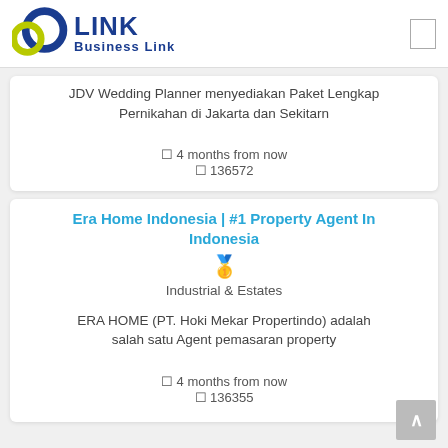Business Link
JDV Wedding Planner menyediakan Paket Lengkap Pernikahan di Jakarta dan Sekitarn
4 months from now
136572
Era Home Indonesia | #1 Property Agent In Indonesia
Industrial & Estates
ERA HOME (PT. Hoki Mekar Propertindo) adalah salah satu Agent pemasaran property
4 months from now
136355